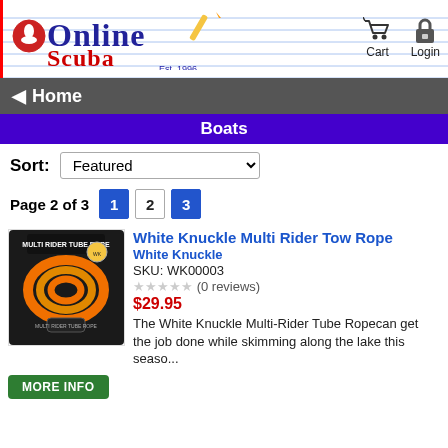[Figure (logo): Online Scuba logo with cursive text, shopping cart and login icons]
Home
Boats
Sort: Featured
Page 2 of 3  1  2  3
[Figure (photo): White Knuckle Multi Rider Tow Rope coiled orange rope product image]
White Knuckle Multi Rider Tow Rope
White Knuckle
SKU: WK00003
★★★★★ (0 reviews)
$29.95
The White Knuckle Multi-Rider Tube Ropecan get the job done while skimming along the lake this seaso...
MORE INFO